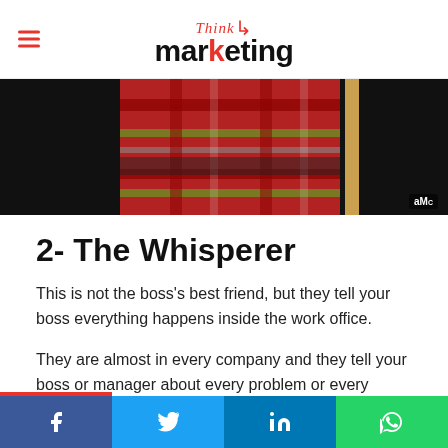Think marketing
[Figure (photo): Close-up of a person wearing a red plaid outfit, with AMC watermark in the bottom right corner]
2- The Whisperer
This is not the boss's best friend, but they tell your boss everything happens inside the work office.
They are almost in every company and they tell your boss or manager about every problem or every complaint. They also